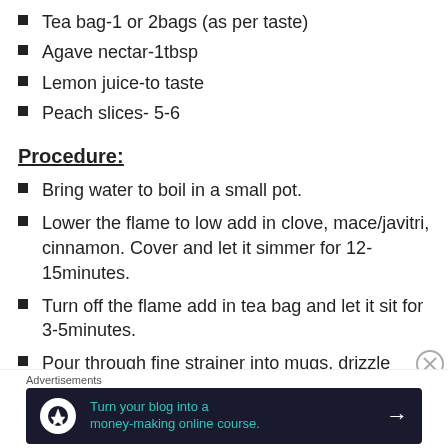Tea bag-1 or 2bags (as per taste)
Agave nectar-1tbsp
Lemon juice-to taste
Peach slices- 5-6
Procedure:
Bring water to boil in a small pot.
Lower the flame to low add in clove, mace/javitri, cinnamon. Cover and let it simmer for 12-15minutes.
Turn off the flame add in tea bag and let it sit for 3-5minutes.
Pour through fine strainer into mugs, drizzle some lemon juice and peach slices.
Advertisements
Turn your blog into a money-making online course.